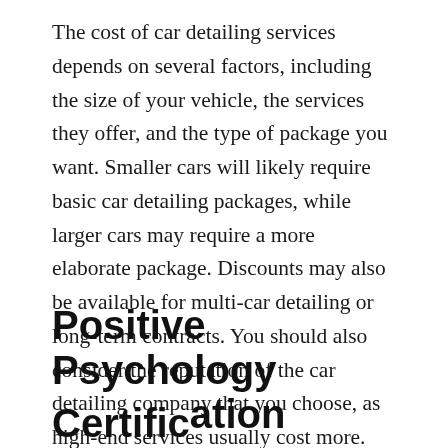The cost of car detailing services depends on several factors, including the size of your vehicle, the services they offer, and the type of package you want. Smaller cars will likely require basic car detailing packages, while larger cars may require a more elaborate package. Discounts may also be available for multi-car detailing or long-term contracts. You should also consider the reputation of the car detailing company that you choose, as high-end services usually cost more.
Positive Psychology Certification